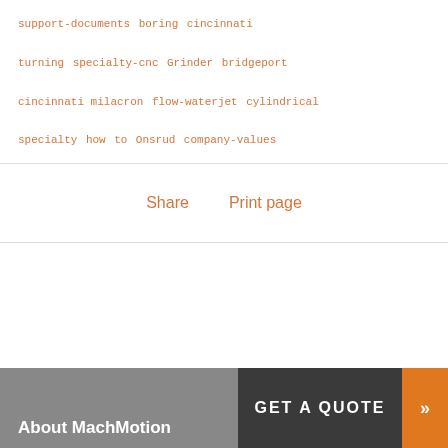support-documents  boring  cincinnati
turning  specialty-cnc  Grinder  bridgeport
cincinnati milacron  flow-waterjet  cylindrical
specialty  how  to  Onsrud  company-values
Share    Print page
About MachMotion
GET A QUOTE